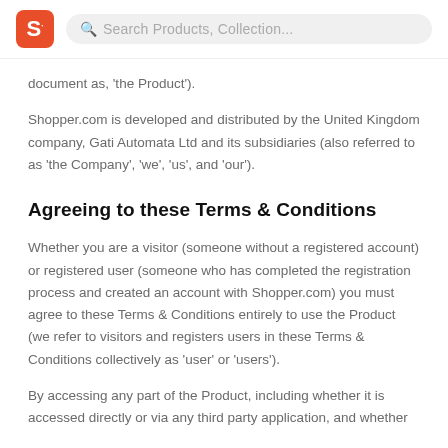S · Search Products, Collection...
document as, 'the Product').
Shopper.com is developed and distributed by the United Kingdom company, Gati Automata Ltd and its subsidiaries (also referred to as 'the Company', 'we', 'us', and 'our').
Agreeing to these Terms & Conditions
Whether you are a visitor (someone without a registered account) or registered user (someone who has completed the registration process and created an account with Shopper.com) you must agree to these Terms & Conditions entirely to use the Product (we refer to visitors and registers users in these Terms & Conditions collectively as 'user' or 'users').
By accessing any part of the Product, including whether it is accessed directly or via any third party application, and whether